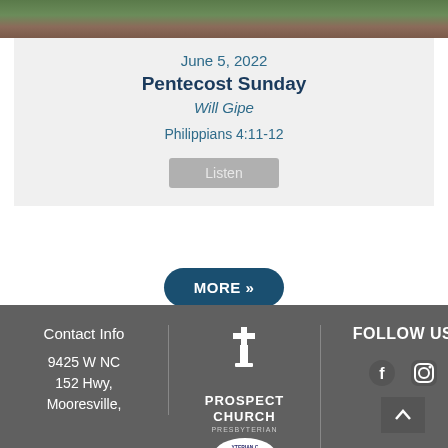[Figure (photo): Church building exterior photo at top of page]
June 5, 2022
Pentecost Sunday
Will Gipe
Philippians 4:11-12
Listen
MORE »
Contact Info
9425 W NC 152 Hwy, Mooresville,
[Figure (logo): Prospect Church logo with cross icon and text]
[Figure (logo): Presbyterian Church circular logo partially visible]
FOLLOW US
[Figure (other): Facebook and Instagram social media icons, scroll-up button]